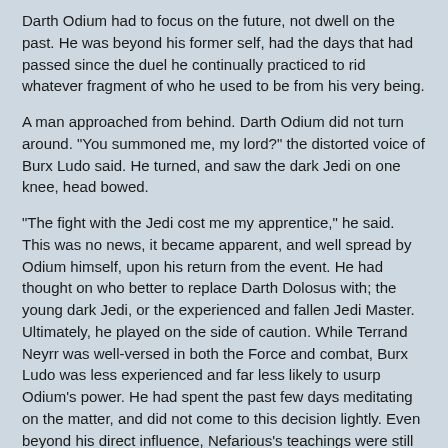Darth Odium had to focus on the future, not dwell on the past. He was beyond his former self, had the days that had passed since the duel he continually practiced to rid whatever fragment of who he used to be from his very being.
A man approached from behind. Darth Odium did not turn around. "You summoned me, my lord?" the distorted voice of Burx Ludo said. He turned, and saw the dark Jedi on one knee, head bowed.
"The fight with the Jedi cost me my apprentice," he said. This was no news, it became apparent, and well spread by Odium himself, upon his return from the event. He had thought on who better to replace Darth Dolosus with; the young dark Jedi, or the experienced and fallen Jedi Master. Ultimately, he played on the side of caution. While Terrand Neyrr was well-versed in both the Force and combat, Burx Ludo was less experienced and far less likely to usurp Odium's power. He had spent the past few days meditating on the matter, and did not come to this decision lightly. Even beyond his direct influence, Nefarious's teachings were still influential to Odium's actions, and he almost chose the more experienced Koorivar above the masked dark Jedi.
But there was something about Burx that Terrand did not have. A spark of potential to rise above any other candidate as Odium's apprentice. And, if the time was right, succeed him. "I now pronounce you Darth Furor," he continued after what seemed an eternity to Burx. "You will become my...